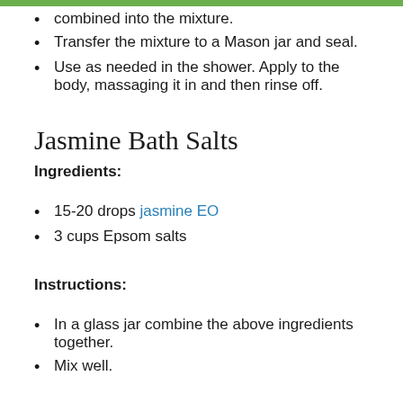combined into the mixture.
Transfer the mixture to a Mason jar and seal.
Use as needed in the shower. Apply to the body, massaging it in and then rinse off.
Jasmine Bath Salts
Ingredients:
15-20 drops jasmine EO
3 cups Epsom salts
Instructions:
In a glass jar combine the above ingredients together.
Mix well.